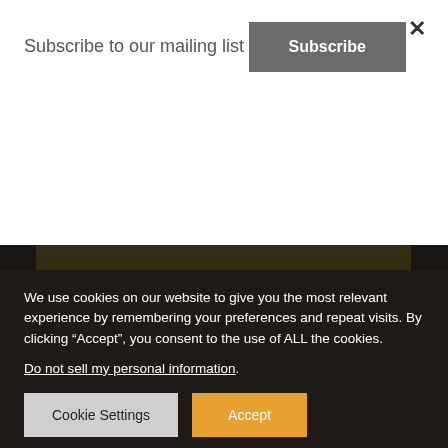Subscribe to our mailing list
Subscribe
[Figure (photo): Outdoor photo showing grass/dirt area at top and road/pavement below, plus a sliver of blue sky at bottom]
We use cookies on our website to give you the most relevant experience by remembering your preferences and repeat visits. By clicking “Accept”, you consent to the use of ALL the cookies.
Do not sell my personal information.
Cookie Settings  Accept